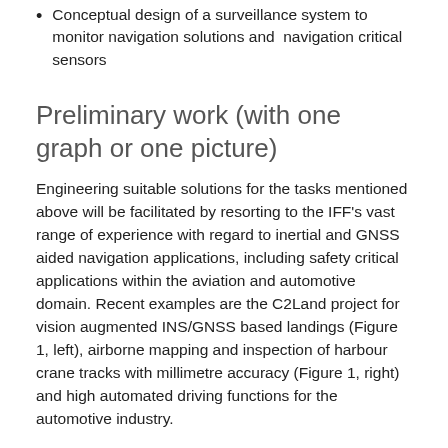Conceptual design of a surveillance system to monitor navigation solutions and  navigation critical sensors
Preliminary work (with one graph or one picture)
Engineering suitable solutions for the tasks mentioned above will be facilitated by resorting to the IFF’s vast range of experience with regard to inertial and GNSS aided navigation applications, including safety critical applications within the aviation and automotive domain. Recent examples are the C2Land project for vision augmented INS/GNSS based landings (Figure 1, left), airborne mapping and inspection of harbour crane tracks with millimetre accuracy (Figure 1, right) and high automated driving functions for the automotive industry.